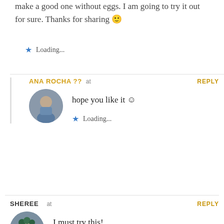make a good one without eggs. I am going to try it out for sure. Thanks for sharing 🙂
Loading...
ANA ROCHA ?? at  REPLY
hope you like it ☺
Loading...
SHEREE at  REPLY
I must try this!